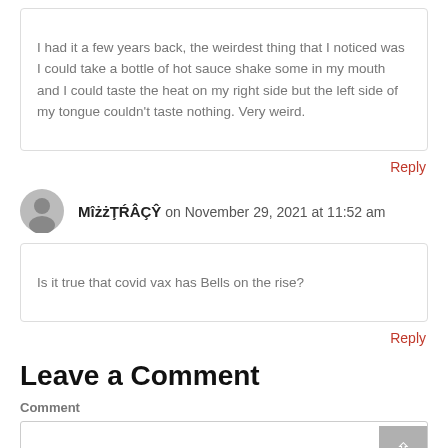I had it a few years back, the weirdest thing that I noticed was I could take a bottle of hot sauce shake some in my mouth and I could taste the heat on my right side but the left side of my tongue couldn't taste nothing. Very weird.
Reply
MîżżŢŔÂÇŶ on November 29, 2021 at 11:52 am
Is it true that covid vax has Bells on the rise?
Reply
Leave a Comment
Comment